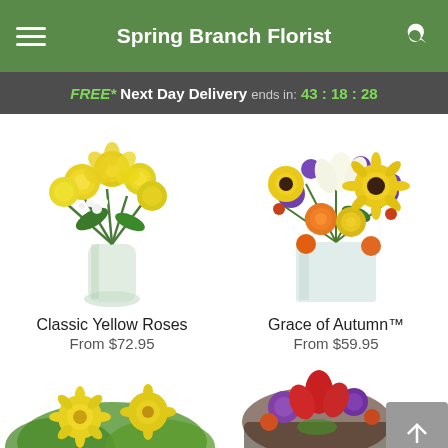Spring Branch Florist
FREE* Next Day Delivery ends in: 43 : 18 : 28
[Figure (photo): Yellow roses bouquet in a glass vase]
Classic Yellow Roses
From $72.95
[Figure (photo): Grace of Autumn flower arrangement with sunflowers, purple and orange flowers in a square glass vase]
Grace of Autumn™
From $59.95
[Figure (photo): Yellow daisy and green flower arrangement, partially visible]
[Figure (photo): Red and purple flower arrangement, partially visible]